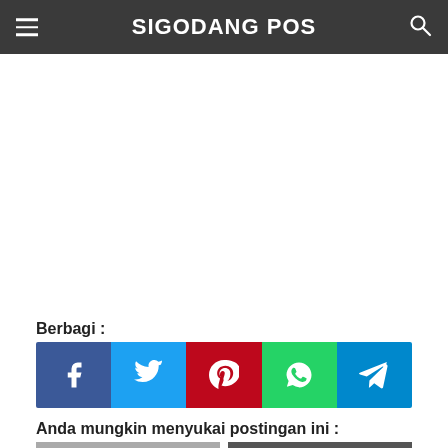SIGODANG POS
Berbagi :
[Figure (infographic): Social share buttons: Facebook (blue), Twitter (light blue), Pinterest (red), WhatsApp (green), Telegram (blue)]
Anda mungkin menyukai postingan ini :
[Figure (photo): Two thumbnail images at the bottom of the page — a photo on the left and an image with 'ONE DIRECTION' text on the right]